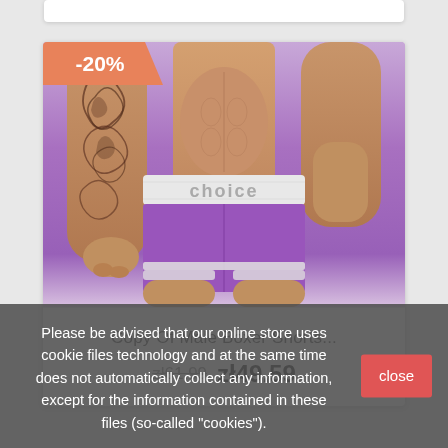[Figure (photo): Product photo of purple male boxer shorts with white waistband labeled 'choice', worn by a male model with a visible tattoo on the left arm, against a purple gradient background. An orange discount badge shows -20% in the top-left corner.]
-20%
Copy Of Male Boxer Shorts...
zł61.99 zł49.59
Please be advised that our online store uses cookie files technology and at the same time does not automatically collect any information, except for the information contained in these files (so-called "cookies").